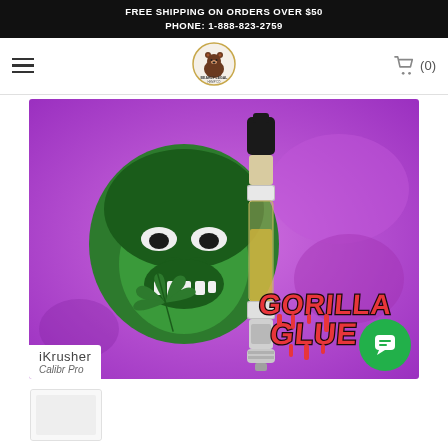FREE SHIPPING ON ORDERS OVER $50
PHONE: 1-888-823-2759
[Figure (logo): Bearly Legal Hemp Co logo — circular badge with bear illustration]
[Figure (photo): iKrusher Calibr Pro vape cartridge product image on purple background with gorilla illustration and 'Gorilla Glue' drip-style red text]
iKrusher
Caliber Pro